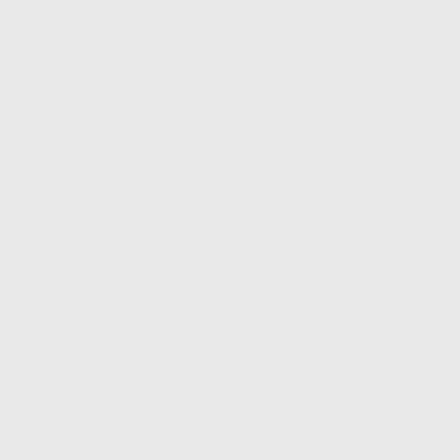community as great as it can be.
You can help introduce new people to BYOND, and earn some rewards for doing it. When you use the code below to link to BYOND, people who visit through your link may decide to stay. And if they become BYOND members, you'll get a thanks from us for making our gaming family a little bit bigger. For every visitor you refer who becomes a member, you'll get a bonus in your BYOND Wallet based on how long a membership they purchase.*
It's simple. Just copy the HTML or BBcode you see below. Paste that into your own Web pages, and people can follow it to see Fullmetal Alchemist Online. If they like what they see and stay to play, the game will become more popular have a greater diversity of players. And if some go on to become BYOND members or developers themselves, we all benefit.
[Figure (illustration): Pixel art banner image of a large armored robot/suit character (Alphonse Elric) with glowing red eyes against an orange-red background]
HTML:
<a
href="http://www.byond.c
/Tuckax/FullmetalAlchemi
"><img
* BYOND Wallet bonus is earned after the first 60 days of the user's membership. This bonus does not apply to gift memberships.
Copyright © 2022 BYOND Software. All rights reserved.
Terms of Service · Privacy Policy · Membership · Contact Us